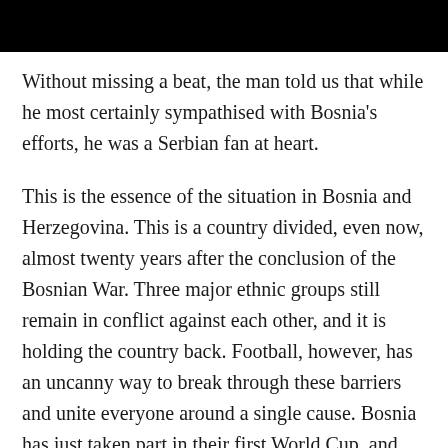Without missing a beat, the man told us that while he most certainly sympathised with Bosnia's efforts, he was a Serbian fan at heart.
This is the essence of the situation in Bosnia and Herzegovina. This is a country divided, even now, almost twenty years after the conclusion of the Bosnian War. Three major ethnic groups still remain in conflict against each other, and it is holding the country back. Football, however, has an uncanny way to break through these barriers and unite everyone around a single cause. Bosnia has just taken part in their first World Cup, and their future is bright. But is it really that simple?